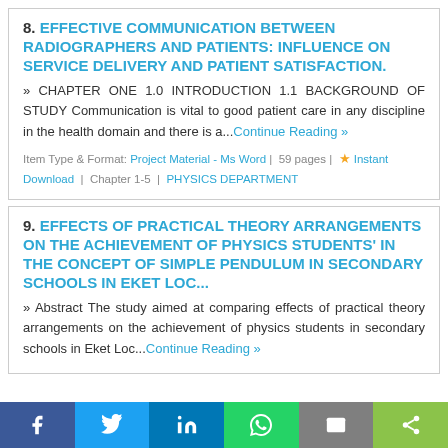8. EFFECTIVE COMMUNICATION BETWEEN RADIOGRAPHERS AND PATIENTS: INFLUENCE ON SERVICE DELIVERY AND PATIENT SATISFACTION.
» CHAPTER ONE 1.0 INTRODUCTION 1.1 BACKGROUND OF STUDY Communication is vital to good patient care in any discipline in the health domain and there is a...Continue Reading »
Item Type & Format: Project Material - Ms Word | 59 pages | ★ Instant Download | Chapter 1-5 | PHYSICS DEPARTMENT
9. EFFECTS OF PRACTICAL THEORY ARRANGEMENTS ON THE ACHIEVEMENT OF PHYSICS STUDENTS' IN THE CONCEPT OF SIMPLE PENDULUM IN SECONDARY SCHOOLS IN EKET LOC...
» Abstract The study aimed at comparing effects of practical theory arrangements on the achievement of physics students in secondary schools in Eket Loc...Continue Reading »